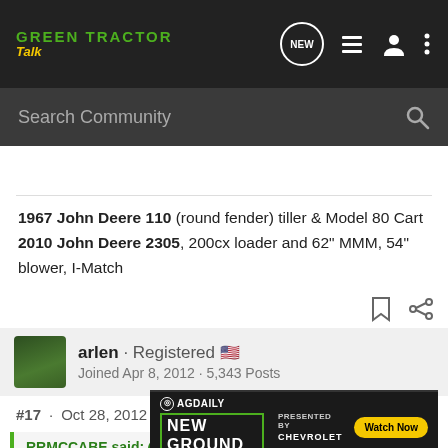Green Tractor Talk – Navigation header with search bar
1967 John Deere 110 (round fender) tiller & Model 80 Cart
2010 John Deere 2305, 200cx loader and 62" MMM, 54" blower, I-Match
arlen · Registered
Joined Apr 8, 2012 · 5,343 Posts
#17 · Oct 28, 2012
RRMCCABE said: ↑
Why is…